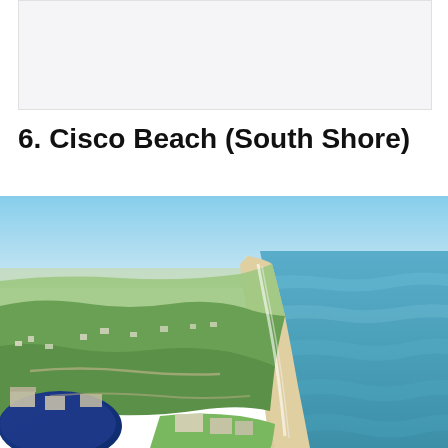[Figure (photo): Top portion of previous content - light grey placeholder image area]
6. Cisco Beach (South Shore)
[Figure (photo): Aerial photograph of Cisco Beach on the South Shore, showing a long stretch of sandy beach with Atlantic Ocean waves on the right, green vegetation and residential houses on the left, and a dark blue pond in the lower left corner. Clear blue sky in the background.]